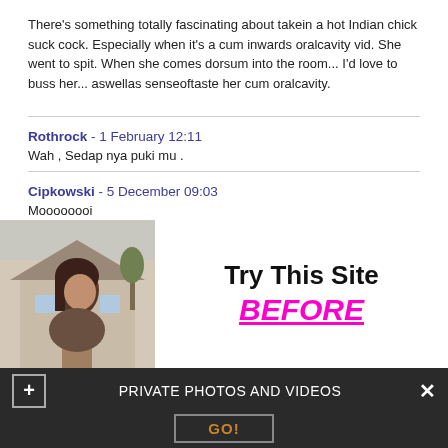There's something totally fascinating about takein a hot Indian chick suck cock. Especially when it's a cum inwards oralcavity vid. She went to spit. When she comes dorsum into the room... I'd love to buss her... aswellas senseoftaste her cum oralcavity.
Rothrock - 1 February 12:11
Wah , Sedap nya puki mu .
Cipkowski - 5 December 09:03
Moooooooi
[Figure (photo): Photo of a woman with dark hair in front of a house, alongside an advertisement reading 'Try This Site BEFORE']
PRIVATE PHOTOS AND VIDEOS
GO!